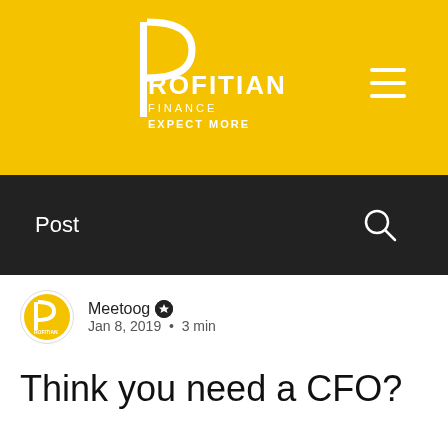[Figure (logo): Profitian Finance logo with yellow background, white P letter mark, ROFITIAN text, FINANCE subtitle, EXPECT MORE tagline]
Post
Meetoog · Jan 8, 2019 · 3 min
Think you need a CFO?
To generate sustainable financial success in business, and to maintain constant strategic leadership there is no one better positioned inside a company than the Chief Finance officer. This role will ensure financial success